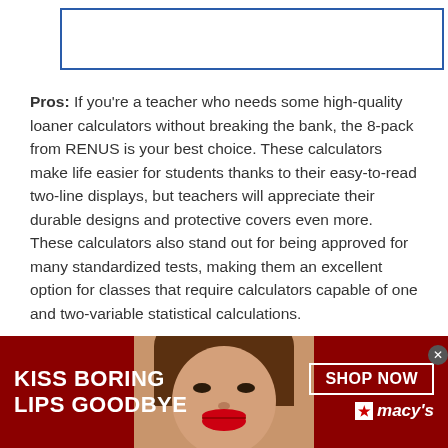[Figure (other): Blue-bordered empty box at top of page]
Pros: If you're a teacher who needs some high-quality loaner calculators without breaking the bank, the 8-pack from RENUS is your best choice. These calculators make life easier for students thanks to their easy-to-read two-line displays, but teachers will appreciate their durable designs and protective covers even more. These calculators also stand out for being approved for many standardized tests, making them an excellent option for classes that require calculators capable of one and two-variable statistical calculations.
[Figure (advertisement): Macy's advertisement banner with red background, text 'KISS BORING LIPS GOODBYE', a photo of a woman's face with red lips in the center, and 'SHOP NOW' button with Macy's star logo on the right]